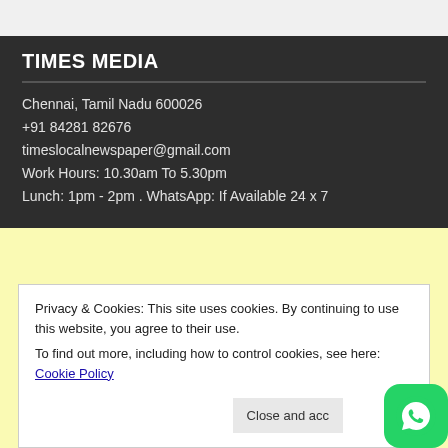TIMES MEDIA
Chennai, Tamil Nadu 600026
+91 84281 82676
timeslocalnewspaper@gmail.com
Work Hours: 10.30am To 5.30pm
Lunch: 1pm - 2pm . WhatsApp: If Available 24 x 7
Privacy & Cookies: This site uses cookies. By continuing to use this website, you agree to their use.
To find out more, including how to control cookies, see here: Cookie Policy
Close and accept